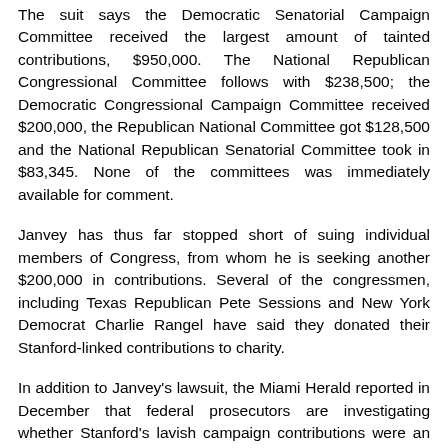The suit says the Democratic Senatorial Campaign Committee received the largest amount of tainted contributions, $950,000. The National Republican Congressional Committee follows with $238,500; the Democratic Congressional Campaign Committee received $200,000, the Republican National Committee got $128,500 and the National Republican Senatorial Committee took in $83,345. None of the committees was immediately available for comment.
Janvey has thus far stopped short of suing individual members of Congress, from whom he is seeking another $200,000 in contributions. Several of the congressmen, including Texas Republican Pete Sessions and New York Democrat Charlie Rangel have said they donated their Stanford-linked contributions to charity.
In addition to Janvey's lawsuit, the Miami Herald reported in December that federal prosecutors are investigating whether Stanford's lavish campaign contributions were an improper attempt to buy influence.
Stanford Receiver Sues Democratic, Republican Groups